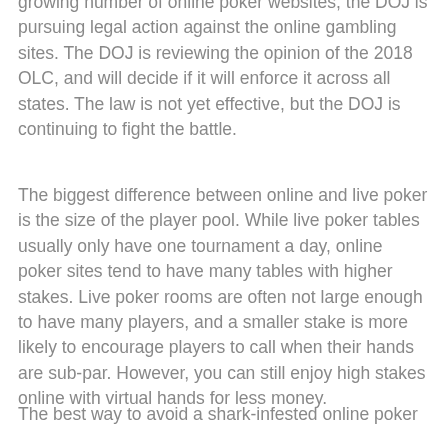growing number of online poker websites, the DOJ is pursuing legal action against the online gambling sites. The DOJ is reviewing the opinion of the 2018 OLC, and will decide if it will enforce it across all states. The law is not yet effective, but the DOJ is continuing to fight the battle.
The biggest difference between online and live poker is the size of the player pool. While live poker tables usually only have one tournament a day, online poker sites tend to have many tables with higher stakes. Live poker rooms are often not large enough to have many players, and a smaller stake is more likely to encourage players to call when their hands are sub-par. However, you can still enjoy high stakes online with virtual hands for less money.
The best way to avoid a shark-infested online poker